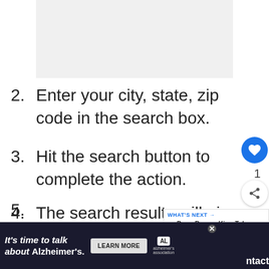[Figure (screenshot): Gray placeholder image area at the top of the page]
2. Enter your city, state, zip code in the search box.
3. Hit the search button to complete the action.
4. The search results will give you the list of local Dairy Queen branches nearest to your zip code.
[Figure (screenshot): Social UI overlay: heart/like button with count 1, and share button]
[Figure (screenshot): What's Next panel: Does Burger King Take... with m logo]
5.
[Figure (screenshot): Advertisement banner: It's time to talk about Alzheimer's. LEARN MORE. Alzheimer's association logo.]